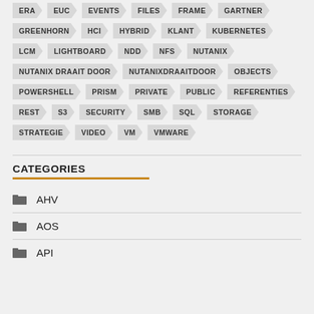ERA EUC EVENTS FILES FRAME GARTNER
GREENHORN HCI HYBRID KLANT KUBERNETES
LCM LIGHTBOARD NDD NFS NUTANIX
NUTANIX DRAAIT DOOR NUTANIXDRAAITDOOR OBJECTS
POWERSHELL PRISM PRIVATE PUBLIC REFERENTIES
REST S3 SECURITY SMB SQL STORAGE
STRATEGIE VIDEO VM VMWARE
CATEGORIES
AHV
AOS
API